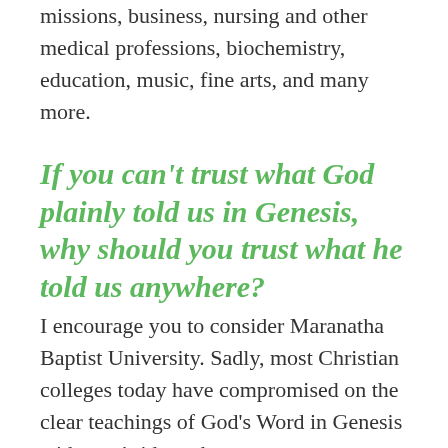missions, business, nursing and other medical professions, biochemistry, education, music, fine arts, and many more.
If you can't trust what God plainly told us in Genesis, why should you trust what he told us anywhere?
I encourage you to consider Maranatha Baptist University. Sadly, most Christian colleges today have compromised on the clear teachings of God's Word in Genesis with man's ideas about